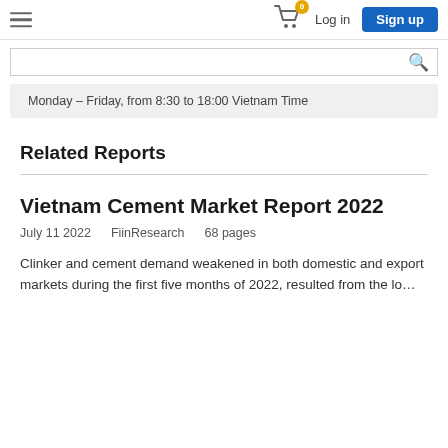Log in  Sign up
Monday – Friday, from 8:30 to 18:00 Vietnam Time
Related Reports
Vietnam Cement Market Report 2022
July 11 2022    FiinResearch    68 pages
Clinker and cement demand weakened in both domestic and export markets during the first five months of 2022, resulted from the lo…